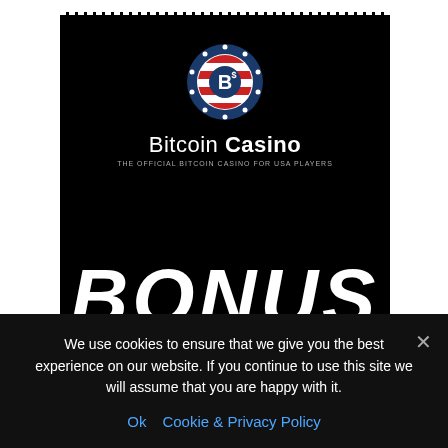[Figure (logo): Bitcoin Casino logo: circular badge with red/white/blue stripes and letter B, with text 'Bitcoin Casino' and tagline 'THE OFFICIAL BITCOIN CASINO FOR USA PLAYERS']
BONUS
We use cookies to ensure that we give you the best experience on our website. If you continue to use this site we will assume that you are happy with it.
Ok  Cookie & Privacy Policy